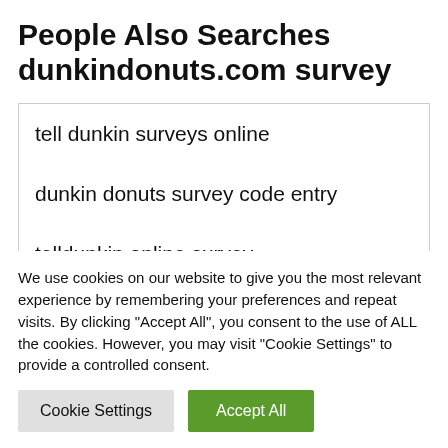People Also Searches dunkindonuts.com survey
tell dunkin surveys online
dunkin donuts survey code entry
telldunkin online survey
We use cookies on our website to give you the most relevant experience by remembering your preferences and repeat visits. By clicking "Accept All", you consent to the use of ALL the cookies. However, you may visit "Cookie Settings" to provide a controlled consent.
Cookie Settings | Accept All